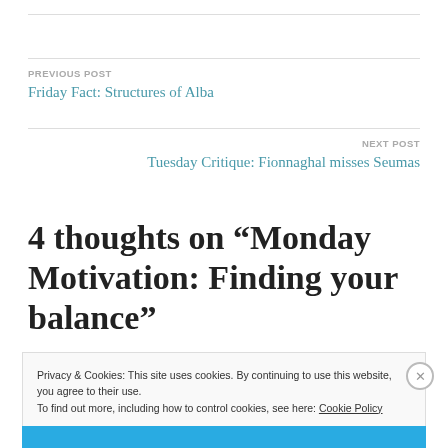PREVIOUS POST
Friday Fact: Structures of Alba
NEXT POST
Tuesday Critique: Fionnaghal misses Seumas
4 thoughts on “Monday Motivation: Finding your balance”
Privacy & Cookies: This site uses cookies. By continuing to use this website, you agree to their use.
To find out more, including how to control cookies, see here: Cookie Policy
Close and accept